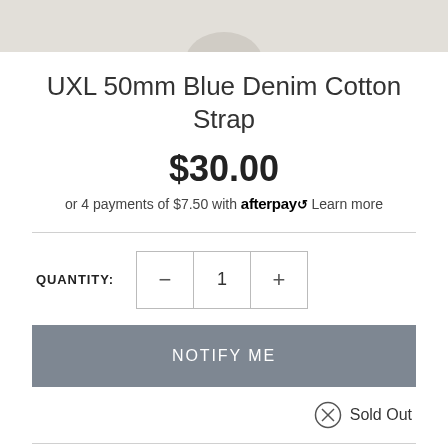[Figure (photo): Partial product photo of a blue denim cotton strap on a light background]
UXL 50mm Blue Denim Cotton Strap
$30.00
or 4 payments of $7.50 with afterpay Learn more
QUANTITY: 1
NOTIFY ME
Sold Out
DETAILS